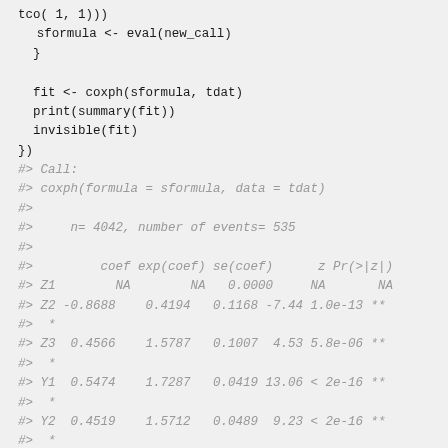tco( 1, 1)))
        sformula <- eval(new_call)
    }

    fit <- coxph(sformula, tdat)
    print(summary(fit))
    invisible(fit)
})
#> Call:
#> coxph(formula = sformula, data = tdat)
#>
#>     n= 4042, number of events= 535
#>
#>         coef exp(coef) se(coef)      z Pr(>|z|)
#> Z1        NA        NA   0.0000     NA       NA
#> Z2 -0.8688    0.4194   0.1168 -7.44 1.0e-13 **
#>  *
#> Z3  0.4566    1.5787   0.1007  4.53 5.8e-06 **
#>  *
#> Y1  0.5474    1.7287   0.0419 13.06 < 2e-16 **
#>  *
#> Y2  0.4519    1.5712   0.0489  9.23 < 2e-16 **
#>  *
#> ---
#> Signif. codes:  0 '***' 0.001 '**' 0.01 '*' 0.0